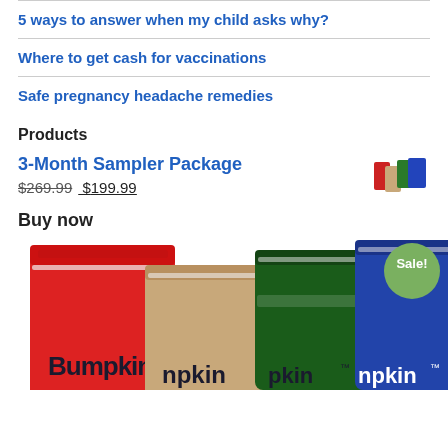5 ways to answer when my child asks why?
Where to get cash for vaccinations
Safe pregnancy headache remedies
Products
3-Month Sampler Package
$269.99 $199.99
Buy now
[Figure (photo): Photo of Bumpkin product packages in red, tan, green, and blue colors arranged side by side, with a green 'Sale!' badge overlay in the top right corner.]